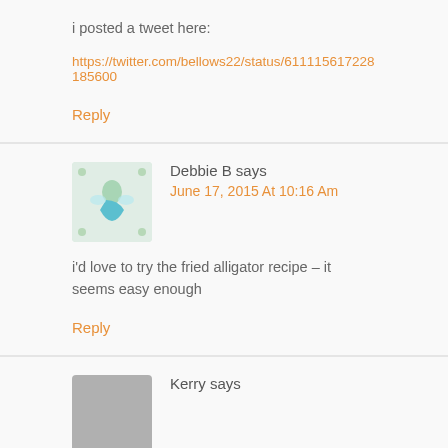i posted a tweet here:
https://twitter.com/bellows22/status/611115617228185600
Reply
Debbie B says
June 17, 2015 At 10:16 Am
i'd love to try the fried alligator recipe – it seems easy enough
Reply
Kerry says